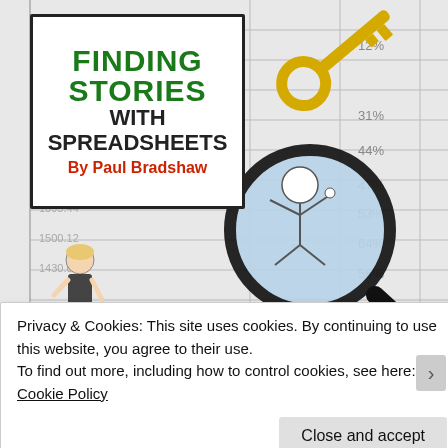[Figure (illustration): Book cover for 'Finding Stories with Spreadsheets by Paul Bradshaw' overlaid on a spreadsheet background showing rows of numbers (2222.31, 2007.02, 1095.44, 1500.12, 1430.0) and percentage columns (12%, 31%, 44%, 47%, 53%, 64%, 56%), with a golden key illustration and a circular magnifying-glass illustration showing a cartoon figure falling.]
Privacy & Cookies: This site uses cookies. By continuing to use this website, you agree to their use.
To find out more, including how to control cookies, see here: Cookie Policy
Close and accept